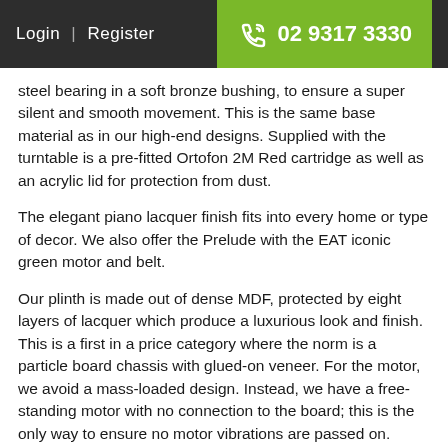Login | Register   02 9317 3330
steel bearing in a soft bronze bushing, to ensure a super silent and smooth movement. This is the same base material as in our high-end designs. Supplied with the turntable is a pre-fitted Ortofon 2M Red cartridge as well as an acrylic lid for protection from dust.
The elegant piano lacquer finish fits into every home or type of decor. We also offer the Prelude with the EAT iconic green motor and belt.
Our plinth is made out of dense MDF, protected by eight layers of lacquer which produce a luxurious look and finish. This is a first in a price category where the norm is a particle board chassis with glued-on veneer. For the motor, we avoid a mass-loaded design. Instead, we have a free-standing motor with no connection to the board; this is the only way to ensure no motor vibrations are passed on.
Most of our customers making purchases in this price